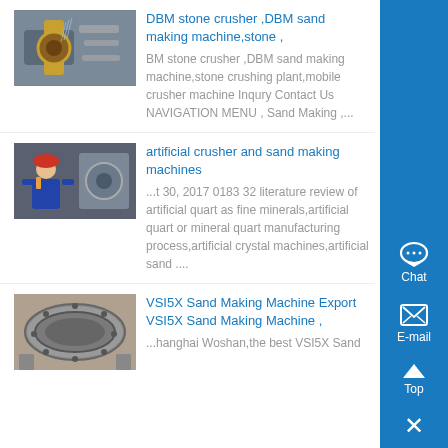[Figure (photo): Industrial stone crusher machine with water spray]
DBM stone crusher ,DBM sand making machine,stone ,
BM stone crusher ,DBM sand making machine,stone crushing plant,mobile crusher machine Inqury Contact Us NAVIGATION MENU , Sand Making ,...
[Figure (photo): Worker in blue uniform and hard hat operating industrial machinery]
artificial crusher and sand making machines
...t 30, 2017 0183 32 literature review of artificial quart as fine minerals,artificial quart or mineral quart manufacturing process,artificial crystal machines,artificial sand ....
[Figure (photo): Large industrial ball mill or grinding machine]
VSI5X Sand Making Machine Export VSI5X Sand Making Machine ,
...hanghai Woshan,the best VSI5X Sand